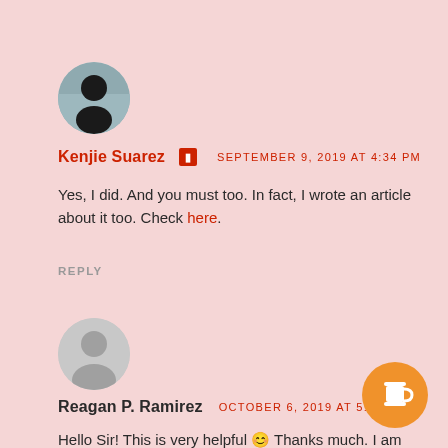[Figure (photo): Circular avatar photo of Kenjie Suarez showing a person in dark clothing outdoors]
Kenjie Suarez [admin icon] SEPTEMBER 9, 2019 AT 4:34 PM
Yes, I did. And you must too. In fact, I wrote an article about it too. Check here.
REPLY
[Figure (illustration): Circular generic user avatar (gray silhouette)]
Reagan P. Ramirez OCTOBER 6, 2019 AT 5:31 A
Hello Sir! This is very helpful 😊 Thanks much. I am applying for
[Figure (illustration): Orange circular Buy Me a Coffee button with coffee cup icon]